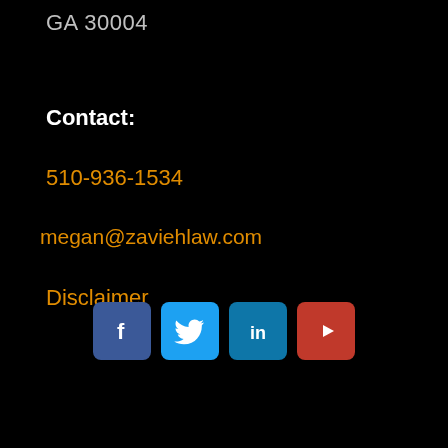GA 30004
Contact:
510-936-1534
megan@zaviehlaw.com
Disclaimer
[Figure (illustration): Social media icons row: Facebook (blue), Twitter (light blue), LinkedIn (dark blue), YouTube (red)]